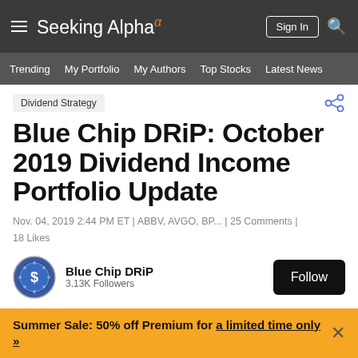Seeking Alpha
Trending | My Portfolio | My Authors | Top Stocks | Latest News
Dividend Strategy
Blue Chip DRiP: October 2019 Dividend Income Portfolio Update
Nov. 04, 2019 2:44 PM ET | ABBV, AVGO, BP... | 25 Comments | 18 Likes
Blue Chip DRiP
3.13K Followers
Summer Sale: 50% off Premium for a limited time only »